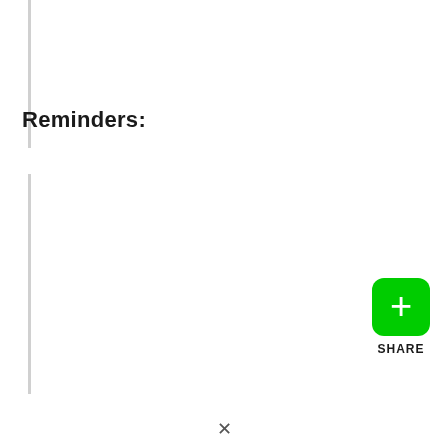Reminders:
[Figure (other): Green share button with plus icon and SHARE label below]